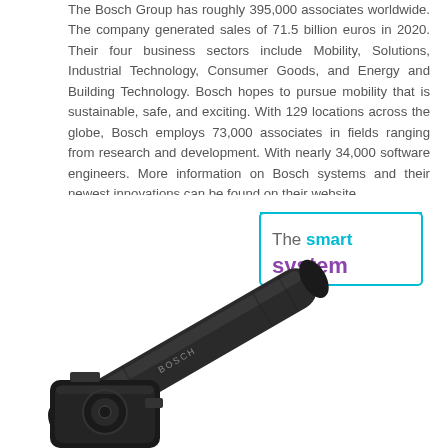The Bosch Group has roughly 395,000 associates worldwide. The company generated sales of 71.5 billion euros in 2020. Their four business sectors include Mobility, Solutions, Industrial Technology, Consumer Goods, and Energy and Building Technology. Bosch hopes to pursue mobility that is sustainable, safe, and exciting. With 129 locations across the globe, Bosch employs 73,000 associates in fields ranging from research and development. With nearly 34,000 software engineers. More information on Bosch systems and their newest innovations can be found on their website.
[Figure (photo): Photo of Bosch eBike system components (battery and motor) shown diagonally, with a 'The smart system' branded callout box in cyan/purple above them.]